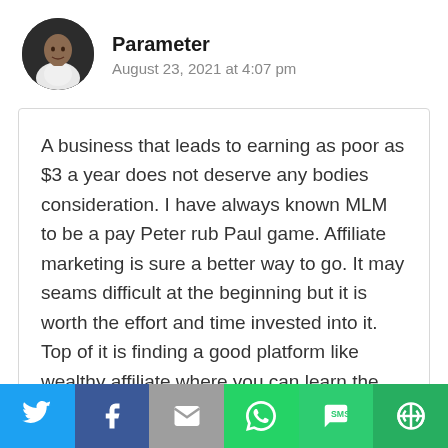Parameter
August 23, 2021 at 4:07 pm
A business that leads to earning as poor as $3 a year does not deserve any bodies consideration. I have always known MLM to be a pay Peter rub Paul game. Affiliate marketing is sure a better way to go. It may seams difficult at the beginning but it is worth the effort and time invested into it. Top of it is finding a good platform like wealthy affiliate where you can learn the act and get encouraged.